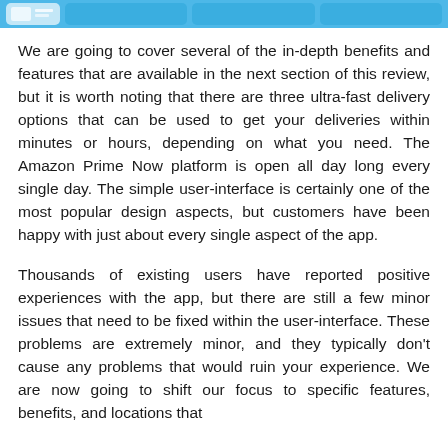[Navigation bar with tabs]
We are going to cover several of the in-depth benefits and features that are available in the next section of this review, but it is worth noting that there are three ultra-fast delivery options that can be used to get your deliveries within minutes or hours, depending on what you need. The Amazon Prime Now platform is open all day long every single day. The simple user-interface is certainly one of the most popular design aspects, but customers have been happy with just about every single aspect of the app.
Thousands of existing users have reported positive experiences with the app, but there are still a few minor issues that need to be fixed within the user-interface. These problems are extremely minor, and they typically don't cause any problems that would ruin your experience. We are now going to shift our focus to specific features, benefits, and locations that